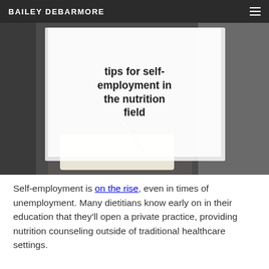BAILEY DEBARMORE
[Figure (photo): Hero image showing a person writing in a notebook, with a semi-transparent white overlay box containing the title text 'tips for self-employment in the nutrition field']
tips for self-employment in the nutrition field
Self-employment is on the rise, even in times of unemployment. Many dietitians know early on in their education that they'll open a private practice, providing nutrition counseling outside of traditional healthcare settings.